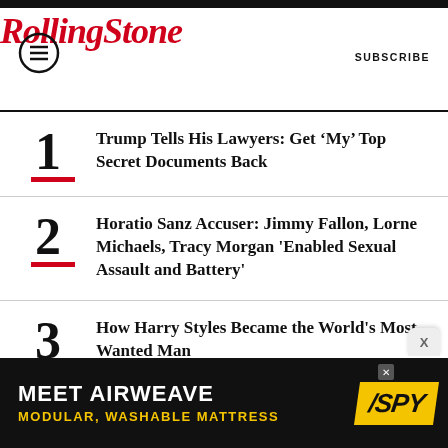RollingStone — SUBSCRIBE
1 — Trump Tells His Lawyers: Get ‘My’ Top Secret Documents Back
2 — Horatio Sanz Accuser: Jimmy Fallon, Lorne Michaels, Tracy Morgan 'Enabled Sexual Assault and Battery'
3 — How Harry Styles Became the World's Most Wanted Man
4 — Neil Gaiman on the Secret History of 'The Sandman,' from Giant Mechanical Spiders to the Joker
[Figure (infographic): Advertisement banner: MEET AIRWEAVE / MODULAR, WASHABLE MATTRESS with SPY logo in yellow]